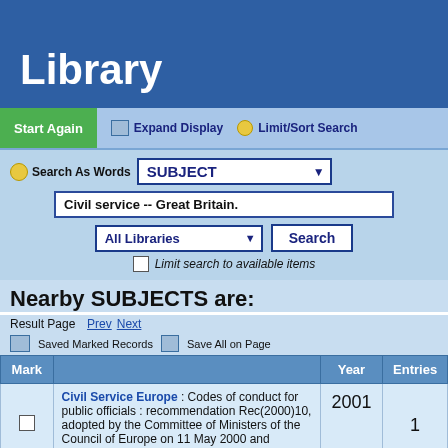Library
[Figure (screenshot): Navigation bar with Start Again (green), Expand Display, and Limit/Sort Search buttons]
[Figure (screenshot): Search form with Search As Words label, SUBJECT dropdown, Civil service -- Great Britain. input, All Libraries dropdown, Search button, and Limit search to available items checkbox]
Nearby SUBJECTS are:
Result Page  Prev  Next
Saved Marked Records   Save All on Page
| Mark |  | Year | Entries |
| --- | --- | --- | --- |
|  | Civil Service Europe : Codes of conduct for public officials : recommendation Rec(2000)10, adopted by the Committee of Ministers of the Council of Europe on 11 May 2000 and explanatory memorandum.; Council of Europe. | 2001 | 1 |